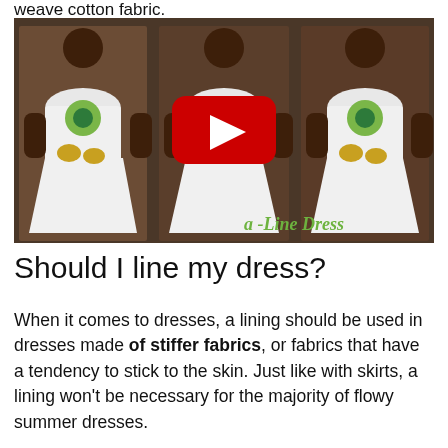weave cotton fabric.
[Figure (screenshot): A YouTube video thumbnail showing three views of a woman wearing a white A-line dress with large green and yellow floral appliqué designs. A red YouTube play button is overlaid in the center. Text in the bottom right reads 'A-Line Dress' in green cursive.]
Should I line my dress?
When it comes to dresses, a lining should be used in dresses made of stiffer fabrics, or fabrics that have a tendency to stick to the skin. Just like with skirts, a lining won't be necessary for the majority of flowy summer dresses.